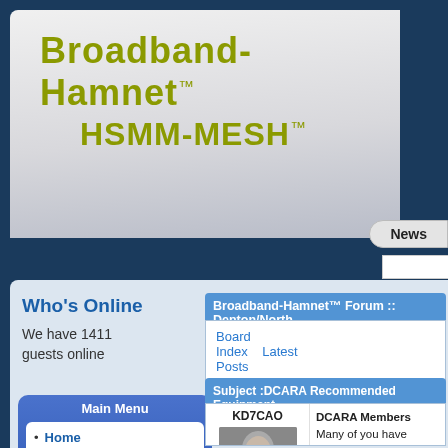Broadband-Hamnet™ HSMM-MESH™
News
Who's Online
We have 1411 guests online
Main Menu
Home
Just starting? Read this
Web Links
HSMM-MESH™ Forums
Awards
Broadband-Hamnet™ Forum :: Denton/North...
Board Index  Latest Posts
Subject :DCARA Recommended Equipment...
KD7CAO
DCARA Members
Many of you have antennas and equ... my Ubiquiti Rocke... compiling the list h...